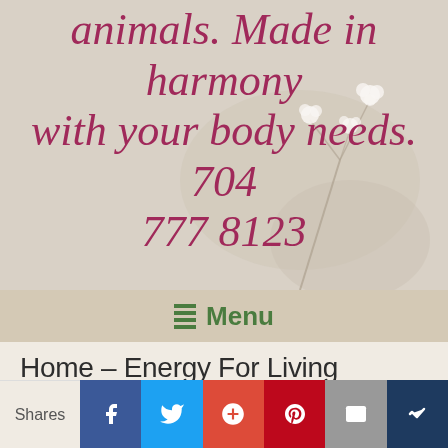[Figure (photo): Soft floral background photo with delicate white flowers on stems against a warm beige/cream background, with italic pink/magenta text overlay reading 'animals. Made in harmony with your body needs. 704 777 8123']
animals. Made in harmony with your body needs. 704 777 8123
Menu
Home – Energy For Living
Home - Energy For Living